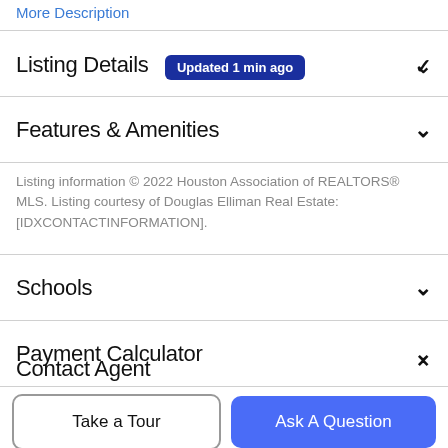More Description
Listing Details  Updated 1 min ago
Features & Amenities
Listing information © 2022 Houston Association of REALTORS® MLS. Listing courtesy of Douglas Elliman Real Estate: [IDXCONTACTINFORMATION].
Schools
Payment Calculator
Contact Agent
Take a Tour
Ask A Question